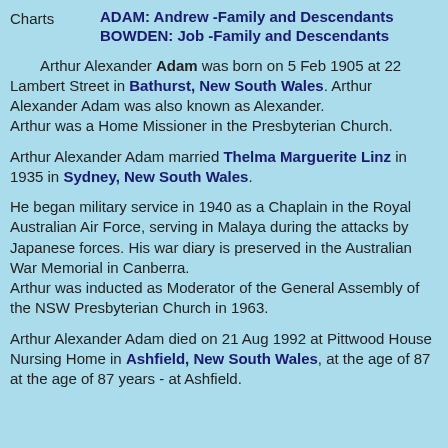Charts    ADAM: Andrew -Family and Descendants
BOWDEN: Job -Family and Descendants
Arthur Alexander Adam was born on 5 Feb 1905 at 22 Lambert Street in Bathurst, New South Wales. Arthur Alexander Adam was also known as Alexander. Arthur was a Home Missioner in the Presbyterian Church.
Arthur Alexander Adam married Thelma Marguerite Linz in 1935 in Sydney, New South Wales.
He began military service in 1940 as a Chaplain in the Royal Australian Air Force, serving in Malaya during the attacks by Japanese forces. His war diary is preserved in the Australian War Memorial in Canberra. Arthur was inducted as Moderator of the General Assembly of the NSW Presbyterian Church in 1963.
Arthur Alexander Adam died on 21 Aug 1992 at Pittwood House Nursing Home in Ashfield, New South Wales, at the age of 87 at the age of 87 years - at Ashfield.